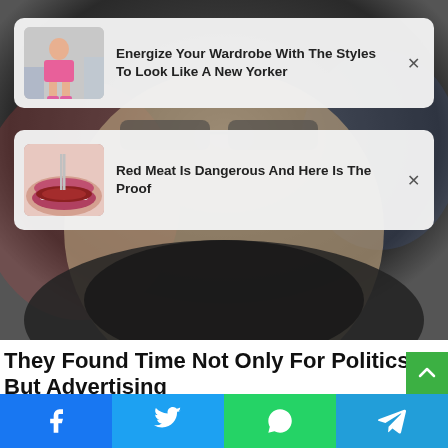[Figure (photo): Background photo of a man's face close-up wearing glasses and a dark jacket, partially visible]
[Figure (screenshot): Ad card 1: thumbnail of woman in pink outfit sitting, text 'Energize Your Wardrobe With The Styles To Look Like A New Yorker' with X close button]
[Figure (screenshot): Ad card 2: thumbnail of mouth eating red meat, text 'Red Meat Is Dangerous And Here Is The Proof' with X close button]
They Found Time Not Only For Politics But Advertising
BRAINBERRIES
[Figure (screenshot): Social share bar with Facebook, Twitter, WhatsApp, and Telegram buttons]